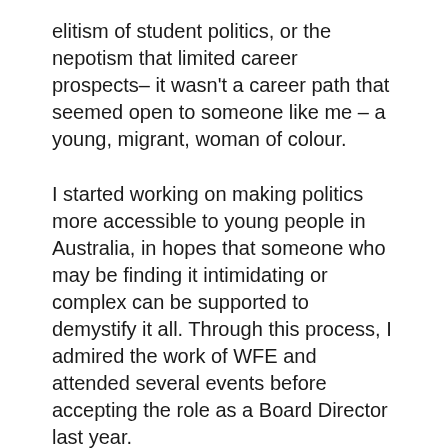elitism of student politics, or the nepotism that limited career prospects– it wasn't a career path that seemed open to someone like me – a young, migrant, woman of colour.
I started working on making politics more accessible to young people in Australia, in hopes that someone who may be finding it intimidating or complex can be supported to demystify it all. Through this process, I admired the work of WFE and attended several events before accepting the role as a Board Director last year.
Why is gender equality in public office vital to you?